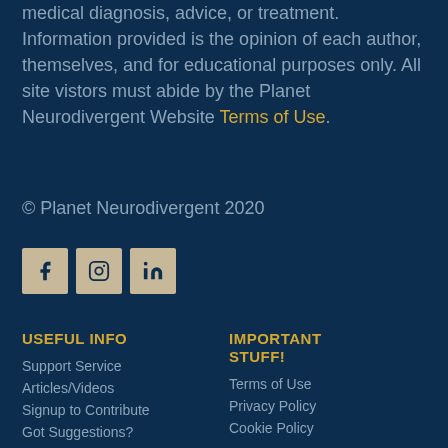medical diagnosis, advice, or treatment. Information provided is the opinion of each author, themselves, and for educational purposes only. All site vistors must abide by the Planet Neurodivergent Website Terms of Use.
© Planet Neurodivergent 2020
[Figure (other): Social media icons: Facebook (f), Instagram (circle icon), LinkedIn (in)]
USEFUL INFO
Support Service
Articles/Videos
Signup to Contribute
Got Suggestions?
IMPORTANT STUFF!
Terms of Use
Privacy Policy
Cookie Policy